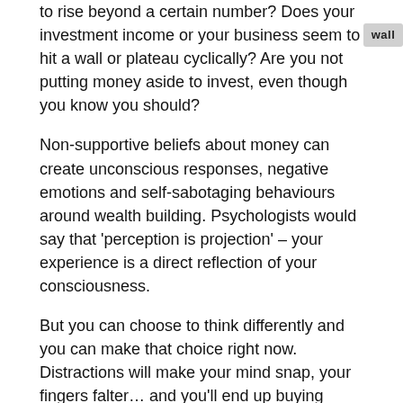to rise beyond a certain number? Does your investment income or your business seem to hit a wall or plateau cyclically? Are you not putting money aside to invest, even though you know you should?
Non-supportive beliefs about money can create unconscious responses, negative emotions and self-sabotaging behaviours around wealth building. Psychologists would say that ‘perception is projection’ – your experience is a direct reflection of your consciousness.
But you can choose to think differently and you can make that choice right now. Distractions will make your mind snap, your fingers falter… and you’ll end up buying 5000 BHP instead of 50. You owe it to yourself to master your own psychology, or you’ll suffer the consequences.